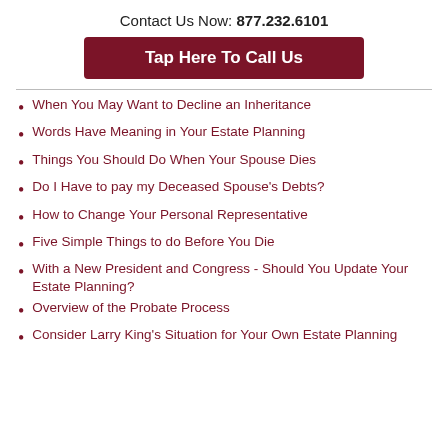Contact Us Now: 877.232.6101
Tap Here To Call Us
When You May Want to Decline an Inheritance
Words Have Meaning in Your Estate Planning
Things You Should Do When Your Spouse Dies
Do I Have to pay my Deceased Spouse's Debts?
How to Change Your Personal Representative
Five Simple Things to do Before You Die
With a New President and Congress - Should You Update Your Estate Planning?
Overview of the Probate Process
Consider Larry King's Situation for Your Own Estate Planning